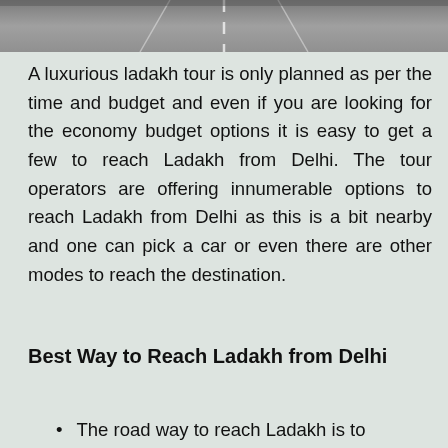[Figure (photo): Top portion of a road/highway photo showing a paved road with lane markings, cropped at the top of the page]
A luxurious ladakh tour is only planned as per the time and budget and even if you are looking for the economy budget options it is easy to get a few to reach Ladakh from Delhi. The tour operators are offering innumerable options to reach Ladakh from Delhi as this is a bit nearby and one can pick a car or even there are other modes to reach the destination.
Best Way to Reach Ladakh from Delhi
The road way to reach Ladakh is to